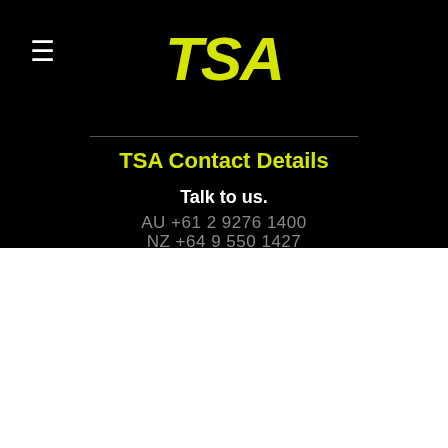[Figure (logo): TSA logo in yellow bold italic text on black background]
TSA Contact Details
Talk to us.
AU +61 2 9276 1400
NZ +64 9 550 1427
We use cookies on our website to give you the most relevant experience by remembering your preferences and repeat visits. By clicking “ACCEPT ALL”, you consent to the use of ALL the cookies. However, you may visit "Cookie Settings" to provide a controlled consent.
Cookie Settings | REJECT ALL | ACCEPT ALL